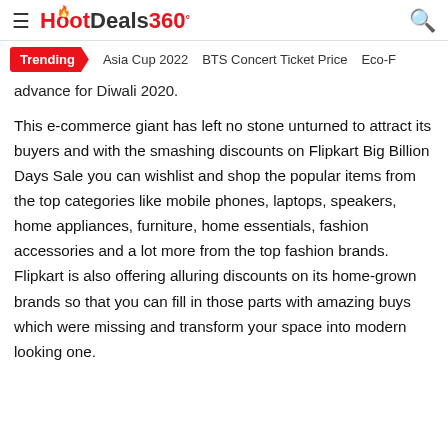HotDeals360
Trending  Asia Cup 2022  BTS Concert Ticket Price  Eco-F
advance for Diwali 2020.
This e-commerce giant has left no stone unturned to attract its buyers and with the smashing discounts on Flipkart Big Billion Days Sale you can wishlist and shop the popular items from the top categories like mobile phones, laptops, speakers, home appliances, furniture, home essentials, fashion accessories and a lot more from the top fashion brands. Flipkart is also offering alluring discounts on its home-grown brands so that you can fill in those parts with amazing buys which were missing and transform your space into modern looking one.